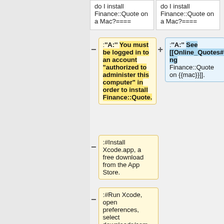do I install Finance::Quote on a Mac?====
do I install Finance::Quote on a Mac?====
:'''A:''' You must be logged in to an account "authorized to administer this computer" in order to install Finance::Quote.
:'''A:''' See [[Online_Quotes#Installing_Finance::Quote_on_macOS|Installing Finance::Quote on {{mac}}]].
:#Install Xcode.app, a free download from the App Store.
:#Run Xcode, open preferences, select downloads/com